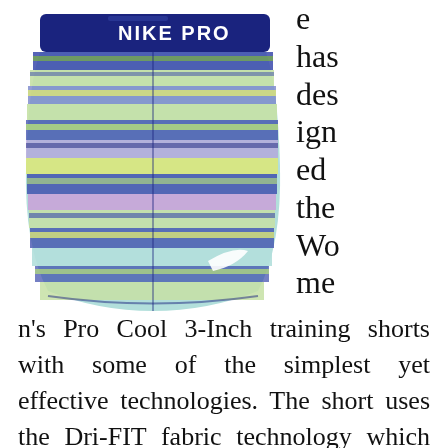[Figure (photo): Nike Pro Women's training shorts with colorful geometric/aztec pattern in blue, green, and purple, with a navy blue waistband showing the Nike Pro logo in white text.]
e has designed the Women's Pro Cool 3-Inch training shorts with some of the simplest yet effective technologies. The short uses the Dri-FIT fabric technology which keeps you dryer for longer. The technology can also be a good tool to improve the comfort level necessar